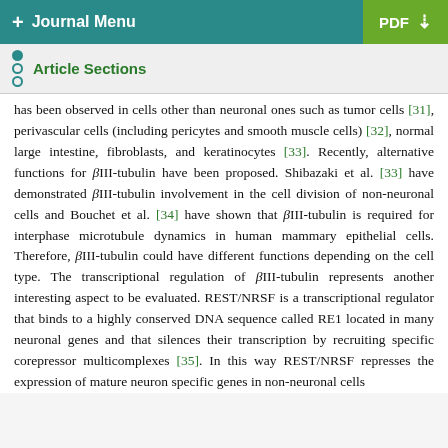+ Journal Menu  PDF ↓
Article Sections
has been observed in cells other than neuronal ones such as tumor cells [31], perivascular cells (including pericytes and smooth muscle cells) [32], normal large intestine, fibroblasts, and keratinocytes [33]. Recently, alternative functions for βIII-tubulin have been proposed. Shibazaki et al. [33] have demonstrated βIII-tubulin involvement in the cell division of non-neuronal cells and Bouchet et al. [34] have shown that βIII-tubulin is required for interphase microtubule dynamics in human mammary epithelial cells. Therefore, βIII-tubulin could have different functions depending on the cell type. The transcriptional regulation of βIII-tubulin represents another interesting aspect to be evaluated. REST/NRSF is a transcriptional regulator that binds to a highly conserved DNA sequence called RE1 located in many neuronal genes and that silences their transcription by recruiting specific corepressor multicomplexes [35]. In this way REST/NRSF represses the expression of mature neuron specific genes in non-neuronal cells